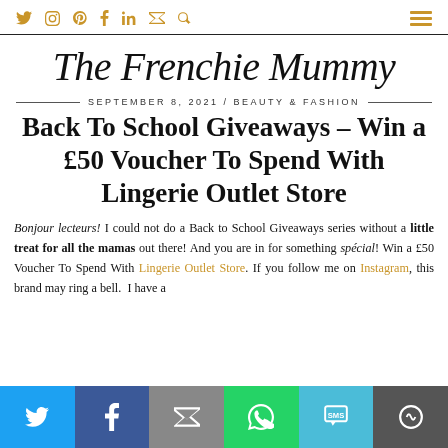[social icons: Twitter, Instagram, Pinterest, Facebook, LinkedIn, Email, Search] [hamburger menu]
The Frenchie Mummy
SEPTEMBER 8, 2021 / BEAUTY & FASHION
Back To School Giveaways – Win a £50 Voucher To Spend With Lingerie Outlet Store
Bonjour lecteurs! I could not do a Back to School Giveaways series without a little treat for all the mamas out there! And you are in for something spécial! Win a £50 Voucher To Spend With Lingerie Outlet Store. If you follow me on Instagram, this brand may ring a bell. I have a
[Share bar: Twitter, Facebook, Email, WhatsApp, SMS, More]